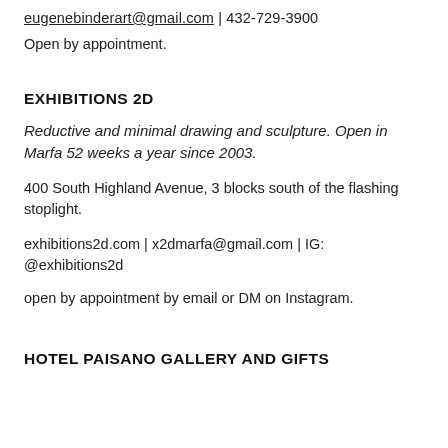eugenebinderart@gmail.com | 432-729-3900
Open by appointment.
EXHIBITIONS 2D
Reductive and minimal drawing and sculpture. Open in Marfa 52 weeks a year since 2003.
400 South Highland Avenue, 3 blocks south of the flashing stoplight.
exhibitions2d.com | x2dmarfa@gmail.com | IG: @exhibitions2d
open by appointment by email or DM on Instagram.
HOTEL PAISANO GALLERY AND GIFTS